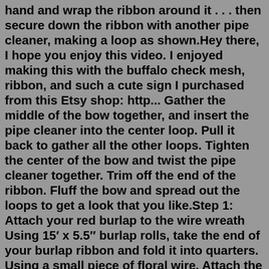hand and wrap the ribbon around it . . . then secure down the ribbon with another pipe cleaner, making a loop as shown.Hey there, I hope you enjoy this video. I enjoyed making this with the buffalo check mesh, ribbon, and such a cute sign I purchased from this Etsy shop: http... Gather the middle of the bow together, and insert the pipe cleaner into the center loop. Pull it back to gather all the other loops. Tighten the center of the bow and twist the pipe cleaner together. Trim off the end of the ribbon. Fluff the bow and spread out the loops to get a look that you like.Step 1: Attach your red burlap to the wire wreath Using 15′ x 5.5″ burlap rolls, take the end of your burlap ribbon and fold it into quarters. Using a small piece of floral wire. Attach the burlap to the wire wreath on the innermost circle of your wire wreath. It can be on any section you want to start with.Mar 22, 2013 · Loop a strip of ribbon and glue the edges together with a glue gun. Continue to glue ribbon on your ribbon wreath. 1 / 3. 4. Once you form a loop, glue the bottom part of your loop together and attach